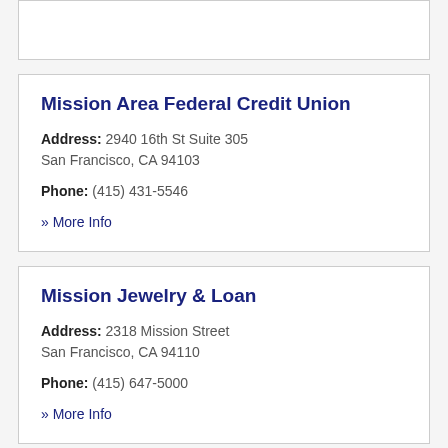Mission Area Federal Credit Union
Address: 2940 16th St Suite 305
San Francisco, CA 94103
Phone: (415) 431-5546
» More Info
Mission Jewelry & Loan
Address: 2318 Mission Street
San Francisco, CA 94110
Phone: (415) 647-5000
» More Info